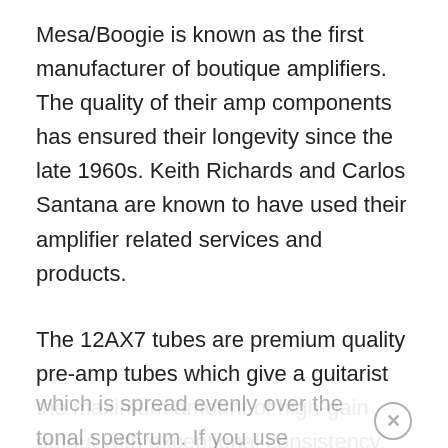Mesa/Boogie is known as the first manufacturer of boutique amplifiers. The quality of their amp components has ensured their longevity since the late 1960s. Keith Richards and Carlos Santana are known to have used their amplifier related services and products.
The 12AX7 tubes are premium quality pre-amp tubes which give a guitarist the maximum amount of high-gain output with exceptional consistency. The tone is reliable and warm, lending itself perfectly to that on-the-edge of clean sound which tube amps provide.
These tubes also have a smooth, balanced response which is spread evenly over the tonal spectrum. If you use